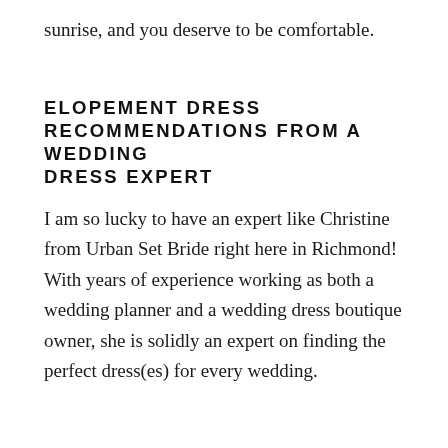sunrise, and you deserve to be comfortable.
ELOPEMENT DRESS RECOMMENDATIONS FROM A WEDDING DRESS EXPERT
I am so lucky to have an expert like Christine from Urban Set Bride right here in Richmond! With years of experience working as both a wedding planner and a wedding dress boutique owner, she is solidly an expert on finding the perfect dress(es) for every wedding.